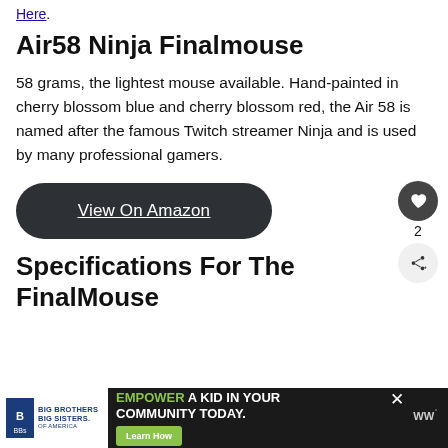Here.
Air58 Ninja Finalmouse
58 grams, the lightest mouse available. Hand-painted in cherry blossom blue and cherry blossom red, the Air 58 is named after the famous Twitch streamer Ninja and is used by many professional gamers.
View On Amazon
Specifications For The FinalMouse